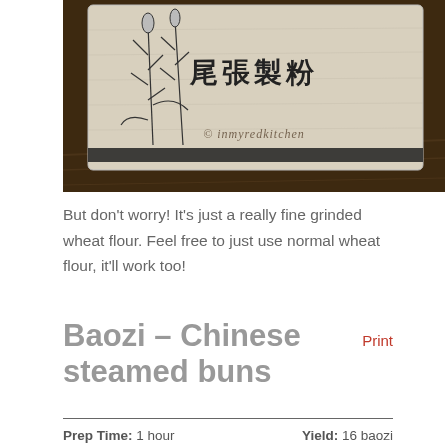[Figure (photo): A bag of finely milled Japanese wheat flour with Chinese characters 尾張製粉 and a wheat/grain illustration on the packaging, placed on a dark wooden surface. Watermark reads '© inmyredkitchen'.]
But don't worry! It's just a really fine grinded wheat flour. Feel free to just use normal wheat flour, it'll work too!
Baozi – Chinese steamed buns
Print
Prep Time: 1 hour   Yield: 16 baozi